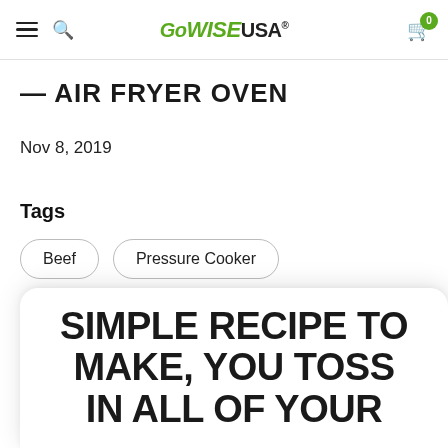GoWISE USA
AIR FRYER OVEN
Nov 8, 2019
Tags
Beef
Pressure Cooker
Share
SIMPLE RECIPE TO MAKE, YOU TOSS IN ALL OF YOUR